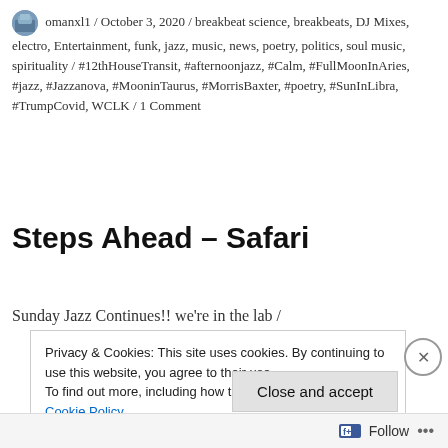omanxl1 / October 3, 2020 / breakbeat science, breakbeats, DJ Mixes, electro, Entertainment, funk, jazz, music, news, poetry, politics, soul music, spirituality / #12thHouseTransit, #afternoonjazz, #Calm, #FullMoonInAries, #jazz, #Jazzanova, #MooninTaurus, #MorrisBaxter, #poetry, #SunInLibra, #TrumpCovid, WCLK / 1 Comment
Steps Ahead – Safari
Sunday Jazz Continues!! we're in the lab /
Privacy & Cookies: This site uses cookies. By continuing to use this website, you agree to their use.
To find out more, including how to control cookies, see here:
Cookie Policy